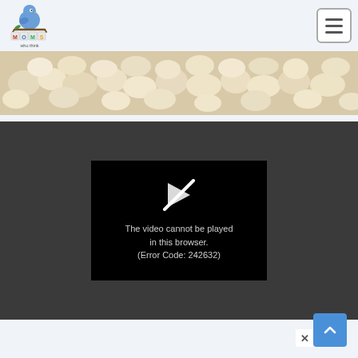[Figure (logo): Moms Who Think logo: blue cartoon bird sitting on letter blocks spelling MOMS, with text 'who think' below]
[Figure (other): Hamburger menu button with three horizontal lines, bordered box in top right corner]
[Figure (photo): Close-up photo of white popcorn filling the horizontal banner area]
[Figure (screenshot): Video player with black background showing a broken/crossed play button icon and error message: The video cannot be played in this browser. (Error Code: 242632)]
The video cannot be played in this browser. (Error Code: 242632)